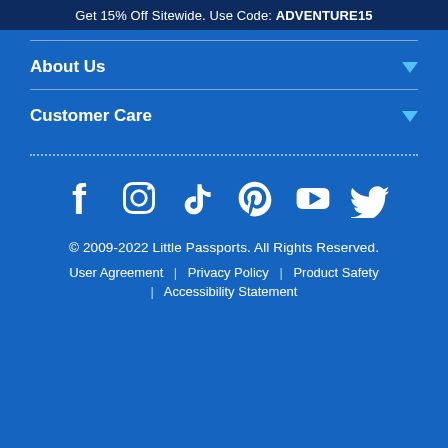Get 15% Off Sitewide. Use Code: ADVENTURE15
About Us
Customer Care
[Figure (infographic): Social media icons row: Facebook, Instagram, TikTok, Pinterest, YouTube, Twitter]
© 2009-2022 Little Passports. All Rights Reserved.
User Agreement | Privacy Policy | Product Safety | Accessibility Statement